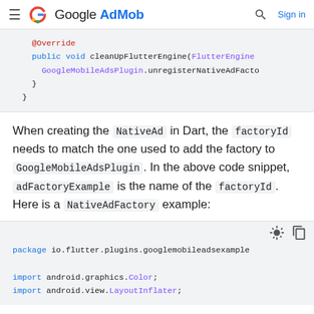Google AdMob — Sign in
[Figure (screenshot): Code snippet showing @Override public void cleanUpFlutterEngine(FlutterEngine) with GoogleMobileAdsPlugin.unregisterNativeAdFactory call and closing braces]
When creating the NativeAd in Dart, the factoryId needs to match the one used to add the factory to GoogleMobileAdsPlugin. In the above code snippet, adFactoryExample is the name of the factoryId. Here is a NativeAdFactory example:
[Figure (screenshot): Code snippet showing package io.flutter.plugins.googlemobileadsexample and import statements for android.graphics.Color and android.view.LayoutInflater]